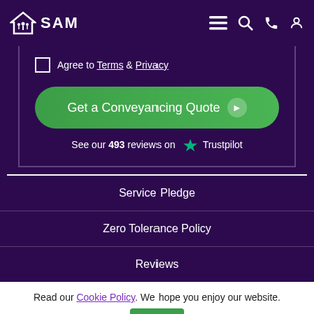SAM - navigation bar with logo, menu, search, phone, and account icons
Agree to Terms & Privacy
Get a Conveyancing Quote
See our 493 reviews on Trustpilot
Service Pledge
Zero Tolerance Policy
Reviews
Read our Cookie Policy. We hope you enjoy our website.
OK